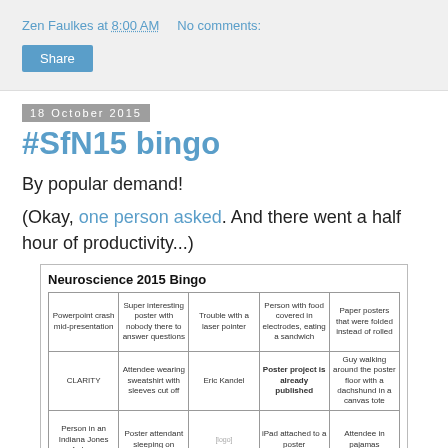Zen Faulkes at 8:00 AM   No comments:
Share
18 October 2015
#SfN15 bingo
By popular demand!
(Okay, one person asked. And there went a half hour of productivity...)
[Figure (table-as-image): Neuroscience 2015 Bingo card with 5x3 visible grid showing bingo squares with text like 'Powerpoint crash mid-presentation', 'Super interesting poster with nobody there to answer questions', 'Trouble with a laser pointer', 'Person with food covered in electrodes eating a sandwich', 'Paper posters that were folded instead of rolled', 'CLARITY', 'Attendee wearing sweatshirt with sleeves cut off', 'Eric Kandel', 'Poster project is already published', 'Guy walking around the poster floor with a dachshund in a canvas tote', 'Person in an Indiana Jones fedora', 'Poster attendant sleeping on', 'iPad attached to a poster', 'Attendee in pajamas']